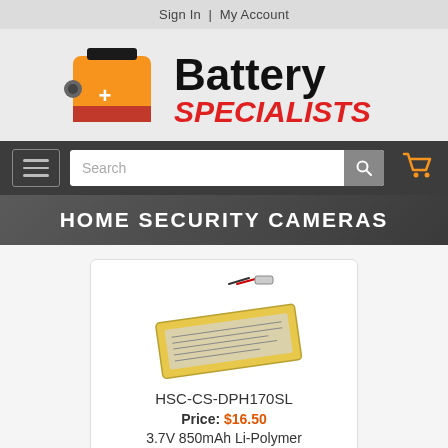Sign In  |  My Account
[Figure (logo): Battery Specialists logo with orange battery icon]
[Figure (screenshot): Navigation bar with hamburger menu, search box, and cart icon]
HOME SECURITY CAMERAS
[Figure (photo): Product listing card showing a yellow Li-Polymer battery]
HSC-CS-DPH170SL
Price: $16.50
3.7V 850mAh Li-Polymer